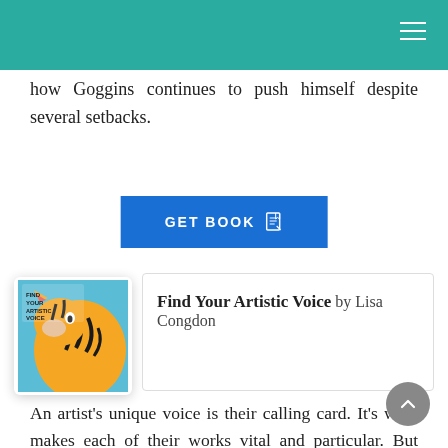how Goggins continues to push himself despite several setbacks.
GET BOOK
[Figure (illustration): Book cover of 'Find Your Artistic Voice' by Lisa Congdon, featuring a stylized tiger illustration with orange, black and blue colors.]
Find Your Artistic Voice by Lisa Congdon
An artist's unique voice is their calling card. It's what makes each of their works vital and particular. But developing such singular artistry requires effort and persistence. Bestselling author, artist, and illustrator